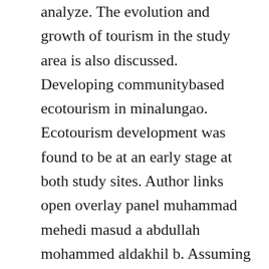analyze. The evolution and growth of tourism in the study area is also discussed. Developing communitybased ecotourism in minalungao. Ecotourism development was found to be at an early stage at both study sites. Author links open overlay panel muhammad mehedi masud a abdullah mohammed aldakhil b. Assuming that communitybased ecotourism as a form of alternative tourism must embrace individual initiatives within the community, this study compares ecotourism initiatives in rural communities of serbia and croatia. Responsible community based ecotourism